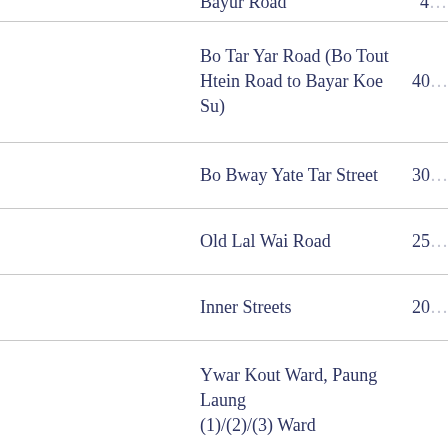| Street/Location | Value |
| --- | --- |
| Bayur Road | 4(cut off) |
| Bo Tar Yar Road (Bo Tout Htein Road to Bayar Koe Su) | 40(cut off) |
| Bo Bway Yate Tar Street | 30(cut off) |
| Old Lal Wai Road | 25(cut off) |
| Inner Streets | 20(cut off) |
| Ywar Kout Ward, Paung Laung (1)/(2)/(3) Ward | (cut off) |